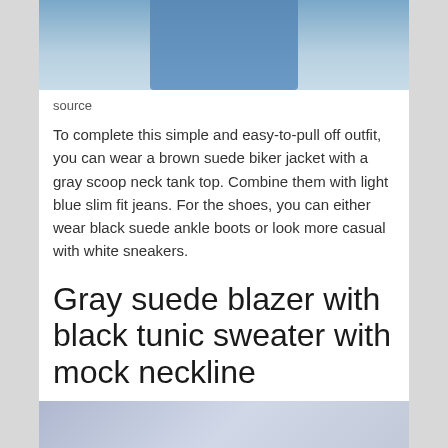[Figure (photo): Bottom portion of a fashion photo showing blue slim fit jeans and legs of a person standing outdoors]
source
To complete this simple and easy-to-pull off outfit, you can wear a brown suede biker jacket with a gray scoop neck tank top. Combine them with light blue slim fit jeans. For the shoes, you can either wear black suede ankle boots or look more casual with white sneakers.
Gray suede blazer with black tunic sweater with mock neckline
[Figure (photo): Top portion of a fashion photo with a light blue/purple background showing the beginning of an outfit]